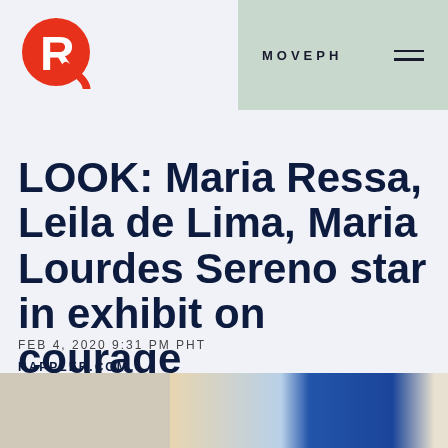[Figure (logo): Rappler logo — red circle with white R letter and swoosh]
MOVEPH
LOOK: Maria Ressa, Leila de Lima, Maria Lourdes Sereno star in exhibit on courage
FEB 4, 2020 9:31 PM PHT
RAPPLER.COM
[Figure (photo): Partial photo showing a building exterior with blue and white architectural elements]